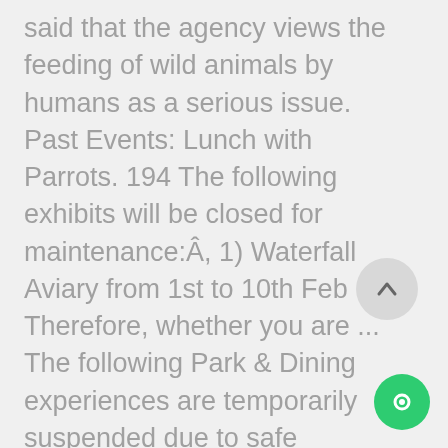said that the agency views the feeding of wild animals by humans as a serious issue. Past Events: Lunch with Parrots. 194 The following exhibits will be closed for maintenance:Â, 1) Waterfall Aviary from 1st to 10th Feb Therefore, whether you are ... The following Park & Dining experiences are temporarily suspended due to safe distancing measures: Get acquainted with some of our birds during their feeding sessions. Jurong Bird Park. It's just a fun place to go for all age groups and the variety of species on show is sizeable. So you cannot miss to take photographs of its beautiful birds. Jurong Bird Park; Feeding Time at Jurong Bird Park; Opening hours; Tickets;